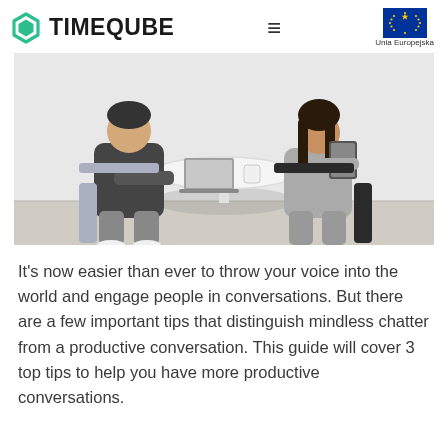TIMEQUBE
[Figure (photo): Two people sitting at a round white table. One person in dark hoodie uses a laptop, the other in grey uses a tablet. Minimalist room with grey floor.]
It's now easier than ever to throw your voice into the world and engage people in conversations. But there are a few important tips that distinguish mindless chatter from a productive conversation. This guide will cover 3 top tips to help you have more productive conversations.